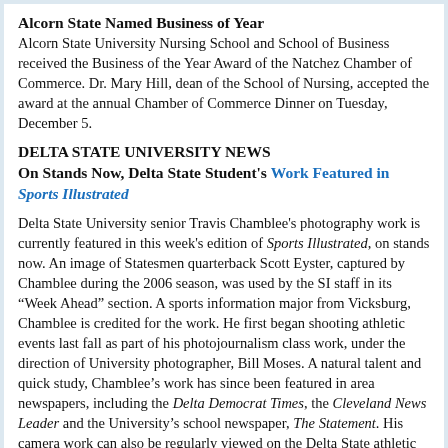Alcorn State Named Business of Year
Alcorn State University Nursing School and School of Business received the Business of the Year Award of the Natchez Chamber of Commerce. Dr. Mary Hill, dean of the School of Nursing, accepted the award at the annual Chamber of Commerce Dinner on Tuesday, December 5.
DELTA STATE UNIVERSITY NEWS
On Stands Now, Delta State Student's Work Featured in Sports Illustrated
Delta State University senior Travis Chamblee's photography work is currently featured in this week's edition of Sports Illustrated, on stands now. An image of Statesmen quarterback Scott Eyster, captured by Chamblee during the 2006 season, was used by the SI staff in its “Week Ahead” section. A sports information major from Vicksburg, Chamblee is credited for the work. He first began shooting athletic events last fall as part of his photojournalism class work, under the direction of University photographer, Bill Moses. A natural talent and quick study, Chamblee's work has since been featured in area newspapers, including the Delta Democrat Times, the Cleveland News Leader and the University's school newspaper, The Statement. His camera work can also be regularly viewed on the Delta State athletic website, http://www.gostatesmen.com, as Chamblee currently